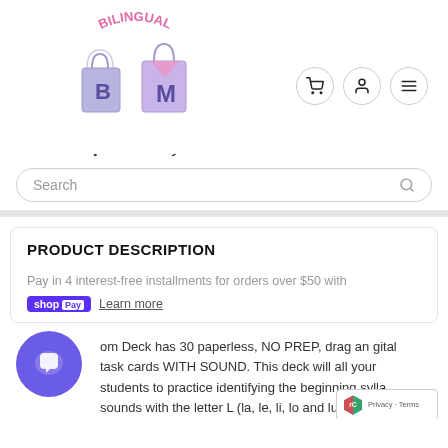[Figure (logo): Bilingual Marketplace logo with shopping bags and BM letters in purple and pink, text arching around in pink and dark blue]
[Figure (other): Navigation icons: shopping cart, user profile, and hamburger menu, each in a circular bordered button]
Search
PRODUCT DESCRIPTION
Pay in 4 interest-free installments for orders over $50 with shop Pay  Learn more
om Deck has 30 paperless, NO PREP, drag an gital task cards WITH SOUND. This deck will all your students to practice identifying the beginning sylla sounds with the letter L (la, le, li, lo and lu).